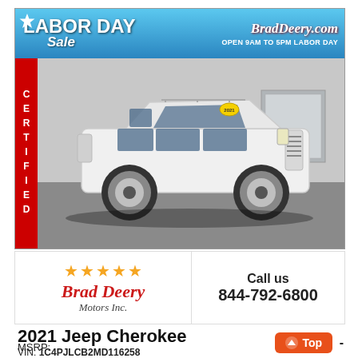[Figure (photo): 2021 Jeep Cherokee white SUV photographed in a dealership showroom. A Labor Day Sale banner is at the top with BradDeery.com logo and 'OPEN 9AM TO 5PM LABOR DAY'. A red CERTIFIED vertical bar is on the left side of the image.]
[Figure (logo): Brad Deery Motors Inc. logo with five gold stars and red italic text]
Call us
844-792-6800
2021 Jeep Cherokee
VIN: 1C4PJLCB2MD116258
STOCK #: 932828
MSRP: